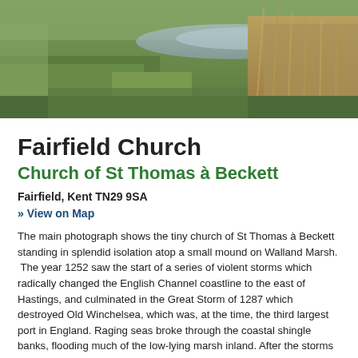[Figure (photo): Landscape photograph of a marshy wetland area with green reeds and grasses, a water channel visible in the background, overcast sky.]
Fairfield Church
Church of St Thomas à Beckett
Fairfield, Kent TN29 9SA
» View on Map
The main photograph shows the tiny church of St Thomas à Beckett standing in splendid isolation atop a small mound on Walland Marsh.
 The year 1252 saw the start of a series of violent storms which radically changed the English Channel coastline to the east of Hastings, and culminated in the Great Storm of 1287 which destroyed Old Winchelsea, which was, at the time, the third largest port in England. Raging seas broke through the coastal shingle banks, flooding much of the low-lying marsh inland. After the storms subsided, the local population began reclamation of the land from the sea by a process known as inning. This